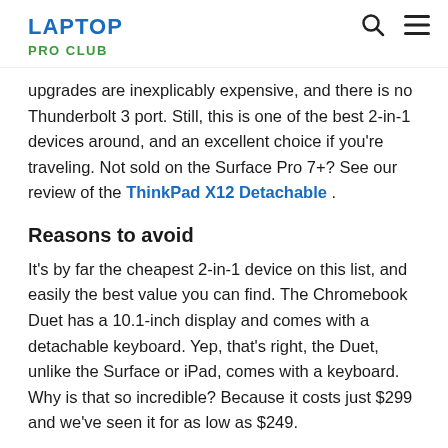LAPTOP PRO CLUB
upgrades are inexplicably expensive, and there is no Thunderbolt 3 port. Still, this is one of the best 2-in-1 devices around, and an excellent choice if you're traveling. Not sold on the Surface Pro 7+? See our review of the ThinkPad X12 Detachable.
Reasons to avoid
It's by far the cheapest 2-in-1 device on this list, and easily the best value you can find. The Chromebook Duet has a 10.1-inch display and comes with a detachable keyboard. Yep, that's right, the Duet, unlike the Surface or iPad, comes with a keyboard. Why is that so incredible? Because it costs just $299 and we've seen it for as low as $249.